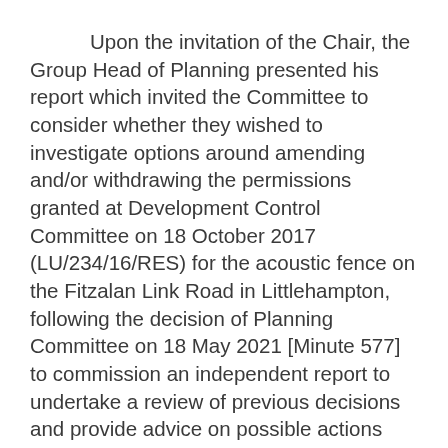Upon the invitation of the Chair, the Group Head of Planning presented his report which invited the Committee to consider whether they wished to investigate options around amending and/or withdrawing the permissions granted at Development Control Committee on 18 October 2017 (LU/234/16/RES) for the acoustic fence on the Fitzalan Link Road in Littlehampton, following the decision of Planning Committee on 18 May 2021 [Minute 577] to commission an independent report to undertake a review of previous decisions and provide advice on possible actions available to the Council. The report and